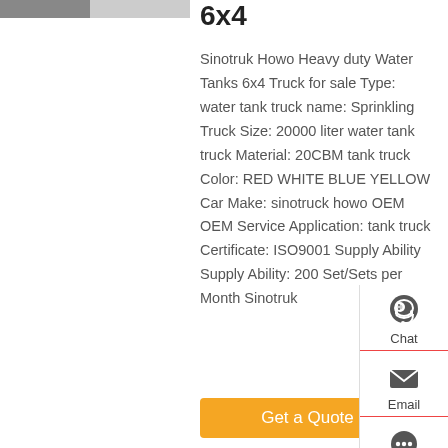[Figure (photo): Partial view of a truck/vehicle at top left]
6x4
Sinotruk Howo Heavy duty Water Tanks 6x4 Truck for sale Type: water tank truck name: Sprinkling Truck Size: 20000 liter water tank truck Material: 20CBM tank truck Color: RED WHITE BLUE YELLOW Car Make: sinotruck howo OEM OEM Service Application: tank truck Certificate: ISO9001 Supply Ability Supply Ability: 200 Set/Sets per Month Sinotruk
[Figure (infographic): Sidebar with Chat, Email, Contact, Top navigation icons]
Get a Quote